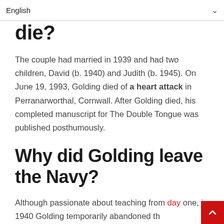English
die?
The couple had married in 1939 and had two children, David (b. 1940) and Judith (b. 1945). On June 19, 1993, Golding died of a heart attack in Perranarworthal, Cornwall. After Golding died, his completed manuscript for The Double Tongue was published posthumously.
Why did Golding leave the Navy?
Although passionate about teaching from day one, in 1940 Golding temporarily abandoned th